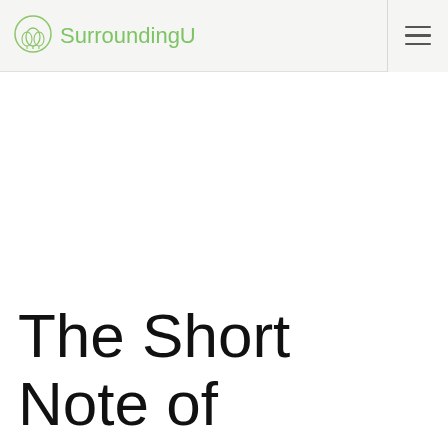SurroundingU
The Short Note of